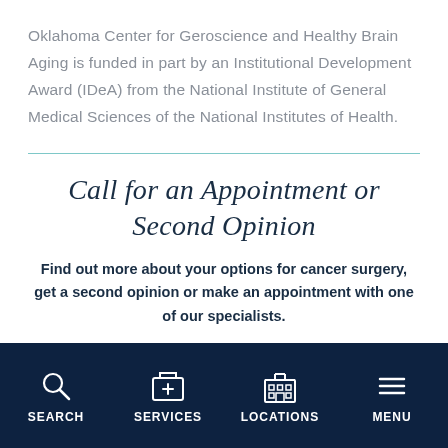Oklahoma Center for Geroscience and Healthy Brain Aging is funded in part by an Institutional Development Award (IDeA) from the National Institute of General Medical Sciences of the National Institutes of Health.
Call for an Appointment or Second Opinion
Find out more about your options for cancer surgery, get a second opinion or make an appointment with one of our specialists.
SEARCH | SERVICES | LOCATIONS | MENU